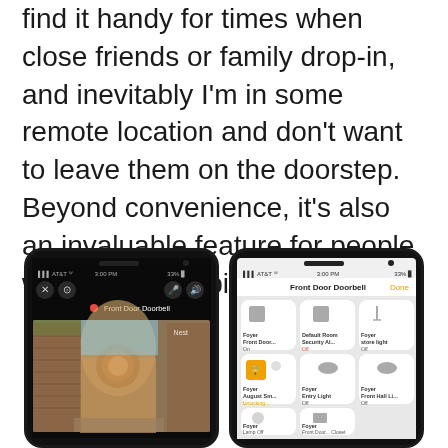find it handy for times when close friends or family drop-in, and inevitably I'm in some remote location and don't want to leave them on the doorstep. Beyond convenience, it's also an invaluable feature for people with limited mobility.
[Figure (screenshot): Two smartphone screenshots side by side. Left phone shows a Nest doorbell camera view labeled 'Front Door Doorbell' with a Nest logo and a live view of a brick house entrance with a decorative door. Right phone shows the Apple Home app with 'Front Door Doorbell' title, Done button, and multiple smart home device tiles including Foyer Front Door (On), Default Room Security (Off), Foyer store light (Off), Foyer August Smart Lock (Unlocking...), Foyer Entry Light (Off), Foyer Front Hall Light (Off), Foyer Lamp (Off), Foyer Front Door Closet.]